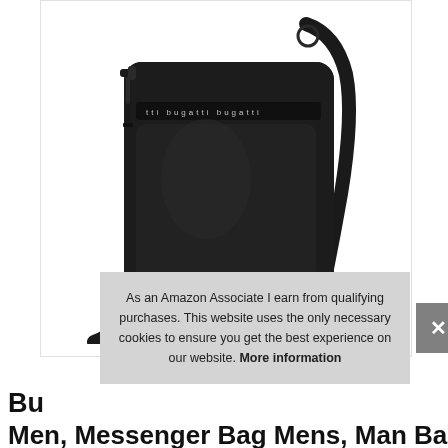[Figure (photo): Black Bugatti crossbody messenger bag with diagonal shoulder strap, front zipper pocket with Bugatti branding logo strip, matte black finish, photographed on white background.]
As an Amazon Associate I earn from qualifying purchases. This website uses the only necessary cookies to ensure you get the best experience on our website. More information
Bu
Men, Messenger Bag Mens, Man Bags,